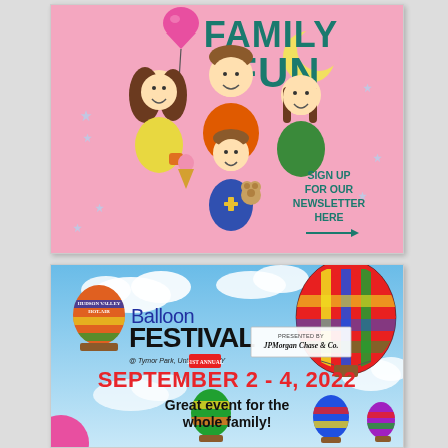[Figure (illustration): Family Fun newsletter signup advertisement with cartoon family (parents and two children), pink background, teal 'FAMILY FUN' text, heart balloon, moon, stars, and 'SIGN UP FOR OUR NEWSLETTER HERE' with arrow]
[Figure (illustration): Hudson Valley Hot-Air Balloon Festival advertisement with sky background, colorful hot air balloons, 'Balloon FESTIVAL' title, location 'Tymor Park, Union Vale, NY', 'PRESENTED BY JPMorgan Chase & Co.', dates 'SEPTEMBER 2 - 4, 2022', and text 'Great event for the whole family!']